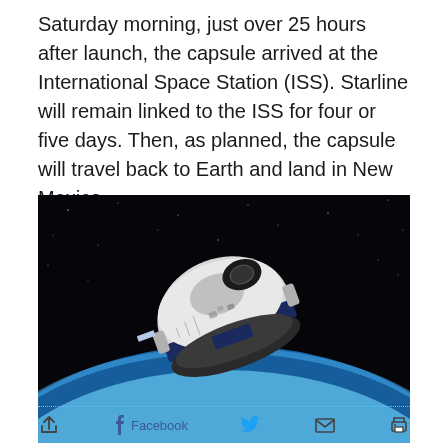Saturday morning, just over 25 hours after launch, the capsule arrived at the International Space Station (ISS). Starline will remain linked to the ISS for four or five days. Then, as planned, the capsule will travel back to Earth and land in New Mexico.
[Figure (photo): Boeing Starliner spacecraft orbiting above Earth, with the curved blue horizon of Earth and black starry space visible in the background. The white and blue capsule is shown in orbit.]
Share icons: share, Facebook, Twitter, email, print